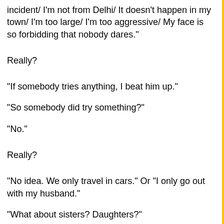incident/ I'm not from Delhi/ It doesn't happen in my town/ I'm too large/ I'm too aggressive/ My face is so forbidding that nobody dares."
Really?
"If somebody tries anything, I beat him up."
"So somebody did try something?"
"No."
Really?
"No idea. We only travel in cars." Or "I only go out with my husband."
"What about sisters? Daughters?"